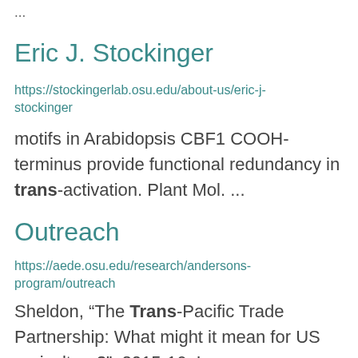...
Eric J. Stockinger
https://stockingerlab.osu.edu/about-us/eric-j-stockinger
motifs in Arabidopsis CBF1 COOH-terminus provide functional redundancy in trans-activation. Plant Mol. ...
Outreach
https://aede.osu.edu/research/andersons-program/outreach
Sheldon, “The Trans-Pacific Trade Partnership: What might it mean for US agriculture?”, 2015-16  I. ...